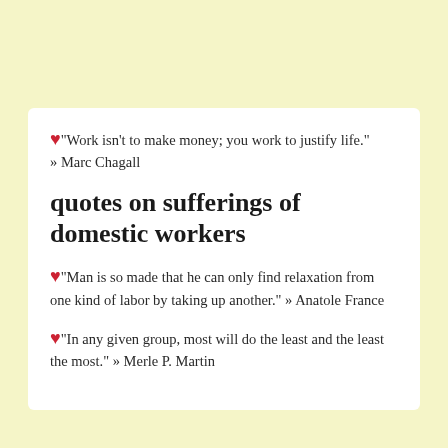"Work isn't to make money; you work to justify life." » Marc Chagall
quotes on sufferings of domestic workers
"Man is so made that he can only find relaxation from one kind of labor by taking up another." » Anatole France
"In any given group, most will do the least and the least the most." » Merle P. Martin